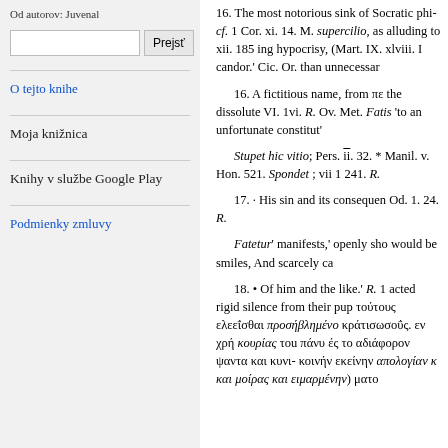Od autorov: Juvenal
Prejsť (search box)
O tejto knihe
Moja knižnica
Knihy v službe Google Play
Podmienky zmluvy
16. The most notorious sink of Socratic phi- cf. 1 Cor. xi. 14. M. supercilio, as alluding to xii. 185 ing hypocrisy, (Mart. IX. xlviii. I candor.' Cic. Or. than unnecessar
16. A fictitious name, from πε the dissolute VI. 1vi. R. Ov. Met. Fatis 'to an unfortunate constitut'
Stupet hic vitio; Pers. ii. 32. * Manil. v. Hon. 521. Spondet ; vii 1 241. R.
17. · His sin and its consequen Od. 1. 24. R.
Fatetur' manifests,' openly sho would be smiles, And scarcely ca
18. • Of him and the like.' R. 1 acted rigid silence from their pup τούτους ελεεΐσθαι προσήβλημένο κράτισωσοΰς. εν χρή κουρίας του πάνυ ές το αδιάφορον ψαντα και κυνι- κοινήν εκείνην απολογίαν κ και μοίρας και ειμαρμένην) ματο